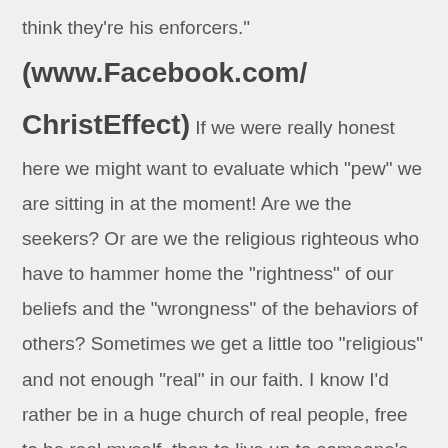think they're his enforcers."
(www.Facebook.com/ ChristEffect) If we were really honest here we might want to evaluate which "pew" we are sitting in at the moment!  Are we the seekers? Or are we the religious righteous who have to hammer home the "rightness" of our beliefs and the "wrongness" of the behaviors of others?  Sometimes we get a little too "religious" and not enough "real" in our faith.  I know I'd rather be in a huge church of real people, free to be real myself, than to live up to someone's standard